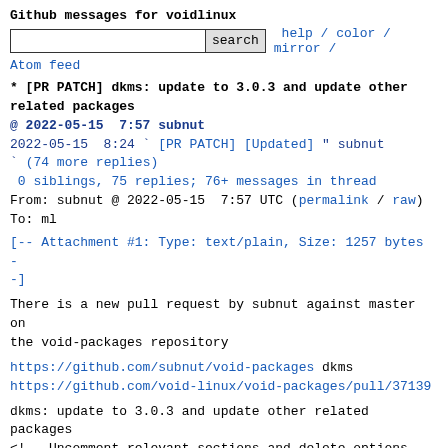Github messages for voidlinux
search  help / color / mirror / Atom feed
* [PR PATCH] dkms: update to 3.0.3 and update other related packages
@ 2022-05-15  7:57 subnut
   2022-05-15  8:24 ` [PR PATCH] [Updated] " subnut
                   ` (74 more replies)
  0 siblings, 75 replies; 76+ messages in thread
From: subnut @ 2022-05-15  7:57 UTC (permalink / raw)
  To: ml
[-- Attachment #1: Type: text/plain, Size: 1257 bytes --]
There is a new pull request by subnut against master on the void-packages repository
https://github.com/subnut/void-packages dkms
https://github.com/void-linux/void-packages/pull/37139
dkms: update to 3.0.3 and update other related packages
<!-- Uncomment relevant sections and delete options which are not applicable -->
#### Testing the changes
- I tested the changes in this PR: **YES**